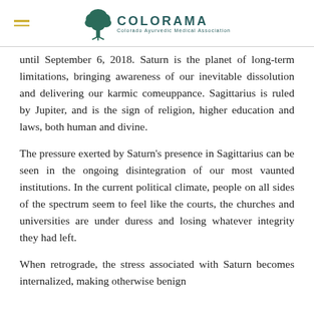COLORAMA — Colorado Ayurvedic Medical Association
until September 6, 2018. Saturn is the planet of long-term limitations, bringing awareness of our inevitable dissolution and delivering our karmic comeuppance. Sagittarius is ruled by Jupiter, and is the sign of religion, higher education and laws, both human and divine.
The pressure exerted by Saturn's presence in Sagittarius can be seen in the ongoing disintegration of our most vaunted institutions. In the current political climate, people on all sides of the spectrum seem to feel like the courts, the churches and universities are under duress and losing whatever integrity they had left.
When retrograde, the stress associated with Saturn becomes internalized, making otherwise benign